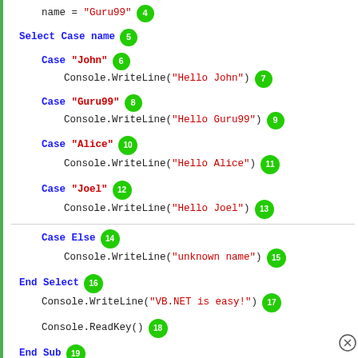[Figure (screenshot): VB.NET code snippet showing a Select Case statement with cases for John, Guru99, Alice, Joel, and Case Else, annotated with numbered green circle badges 4 through 19.]